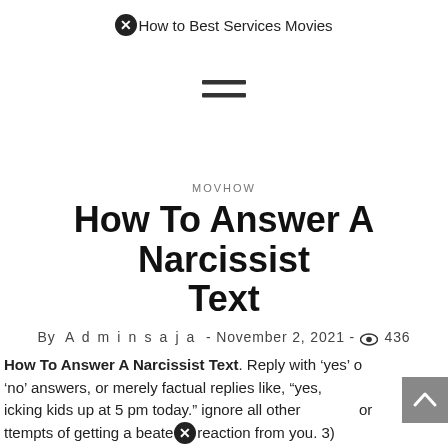How to Best Services Movies
[Figure (other): Hamburger menu icon (three horizontal lines)]
MOVHOW
How To Answer A Narcissist Text
By Adminsaja - November 2, 2021 - 436 views
How To Answer A Narcissist Text. Reply with 'yes' or 'no' answers, or merely factual replies like, "yes, picking kids up at 5 pm today." ignore all other attempts of getting a heated reaction from you. 3)